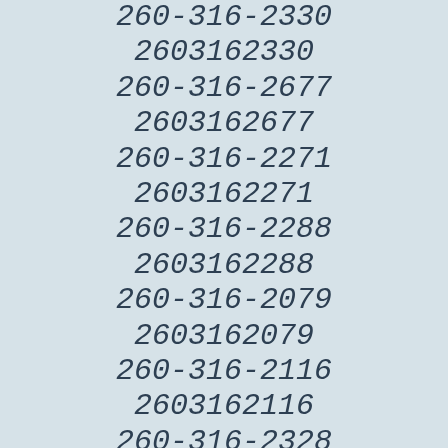260-316-2330
2603162330
260-316-2677
2603162677
260-316-2271
2603162271
260-316-2288
2603162288
260-316-2079
2603162079
260-316-2116
2603162116
260-316-2328
2603162328
260-316-2448